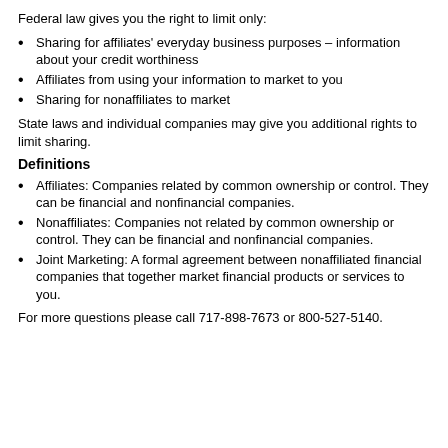Federal law gives you the right to limit only:
Sharing for affiliates' everyday business purposes – information about your credit worthiness
Affiliates from using your information to market to you
Sharing for nonaffiliates to market
State laws and individual companies may give you additional rights to limit sharing.
Definitions
Affiliates: Companies related by common ownership or control. They can be financial and nonfinancial companies.
Nonaffiliates: Companies not related by common ownership or control. They can be financial and nonfinancial companies.
Joint Marketing: A formal agreement between nonaffiliated financial companies that together market financial products or services to you.
For more questions please call 717-898-7673 or 800-527-5140.